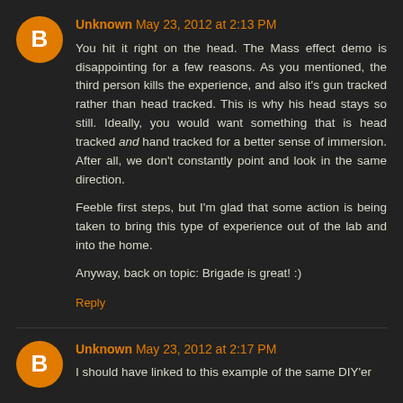Unknown May 23, 2012 at 2:13 PM
You hit it right on the head. The Mass effect demo is disappointing for a few reasons. As you mentioned, the third person kills the experience, and also it's gun tracked rather than head tracked. This is why his head stays so still. Ideally, you would want something that is head tracked and hand tracked for a better sense of immersion. After all, we don't constantly point and look in the same direction.

Feeble first steps, but I'm glad that some action is being taken to bring this type of experience out of the lab and into the home.

Anyway, back on topic: Brigade is great! :)
Reply
Unknown May 23, 2012 at 2:17 PM
I should have linked to this example of the same DIY'er